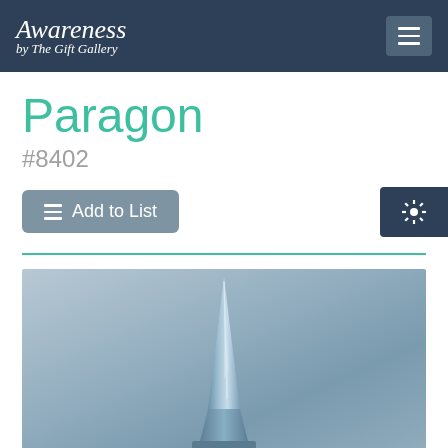Awareness by The Gift Gallery
Paragon
#8402
Add to List
[Figure (photo): Product photo of a sleek blue-grey sculptural trophy or award piece with a pointed top, photographed against a gradient blue-grey background. The item appears to be a tall, slender crystal or glass object narrowing to a sharp tip.]